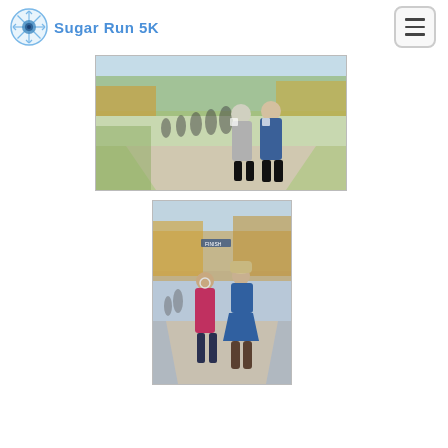Sugar Run 5K
[Figure (photo): Group of runners participating in the Sugar Run 5K race, running on a paved path through a park with autumn trees in the background. Multiple participants visible including women in the foreground wearing race bibs.]
[Figure (photo): Two women walking near what appears to be a finish line area of the Sugar Run 5K race. One wearing a magenta/pink top and one in a blue dress, walking on a paved path with autumn trees.]